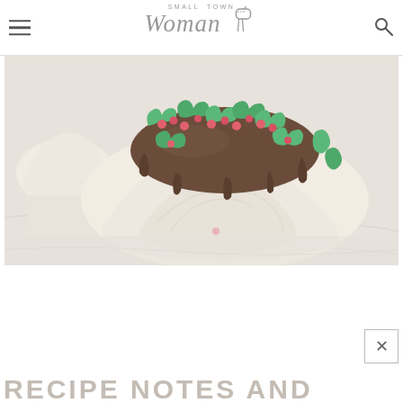Small Town Woman
[Figure (photo): Close-up photo of a cupcake with cream cheese frosting and chocolate ganache topping decorated with green holly leaf sprinkles and pink/red berry sprinkles on a white marble surface]
RECIPE NOTES AND